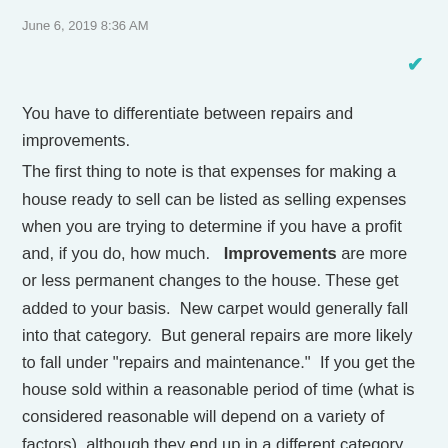June 6, 2019 8:36 AM
You have to differentiate between repairs and improvements. The first thing to note is that expenses for making a house ready to sell can be listed as selling expenses when you are trying to determine if you have a profit and, if you do, how much.   Improvements are more or less permanent changes to the house. These get added to your basis.  New carpet would generally fall into that category.  But general repairs are more likely to fall under "repairs and maintenance."  If you get the house sold within a reasonable period of time (what is considered reasonable will depend on a variety of factors), although they end up in a different category than